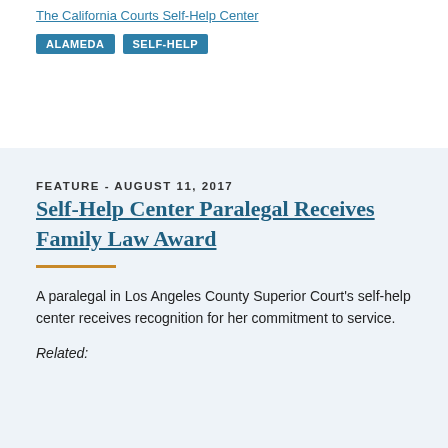The California Courts Self-Help Center
ALAMEDA   SELF-HELP
FEATURE - AUGUST 11, 2017
Self-Help Center Paralegal Receives Family Law Award
A paralegal in Los Angeles County Superior Court's self-help center receives recognition for her commitment to service.
Related: